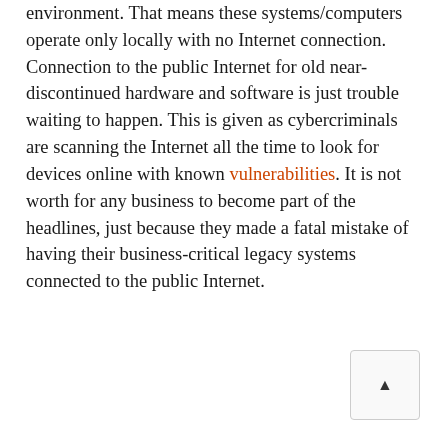environment. That means these systems/computers operate only locally with no Internet connection. Connection to the public Internet for old near-discontinued hardware and software is just trouble waiting to happen. This is given as cybercriminals are scanning the Internet all the time to look for devices online with known vulnerabilities. It is not worth for any business to become part of the headlines, just because they made a fatal mistake of having their business-critical legacy systems connected to the public Internet.